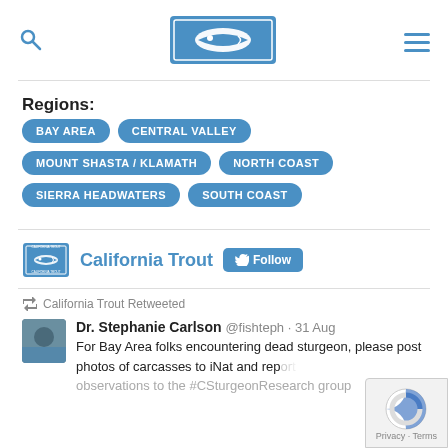California Trout website header with search icon, logo, and menu icon
Regions:
BAY AREA
CENTRAL VALLEY
MOUNT SHASTA / KLAMATH
NORTH COAST
SIERRA HEADWATERS
SOUTH COAST
California Trout [Follow]
California Trout Retweeted
Dr. Stephanie Carlson @fishteph · 31 Aug
For Bay Area folks encountering dead sturgeon, please post photos of carcasses to iNat and report observations to the #CSturgeonResearch group